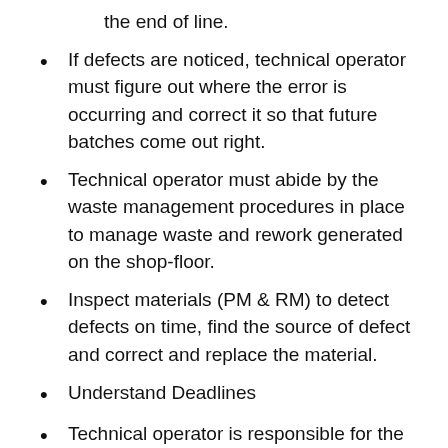the end of line.
If defects are noticed, technical operator must figure out where the error is occurring and correct it so that future batches come out right.
Technical operator must abide by the waste management procedures in place to manage waste and rework generated on the shop-floor.
Inspect materials (PM & RM) to detect defects on time, find the source of defect and correct and replace the material.
Understand Deadlines
Technical operator is responsible for the output goals of his equipment. He is to ensure sufficient quantity is produced to meet delivery obligations.
He takes fully responsibilities of all downtimes and